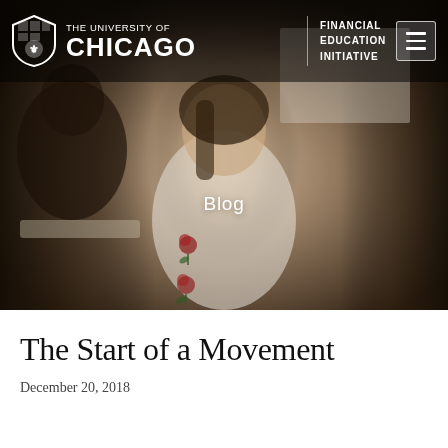[Figure (photo): Hero banner photo of a smiling young woman in a white rose-embroidered sweatshirt sitting at a classroom desk, with other students and a whiteboard visible in the background. University of Chicago Financial Education Initiative navigation bar overlays the top of the image, and the word 'Blog' is centered in white text over the photo.]
The Start of a Movement
December 20, 2018